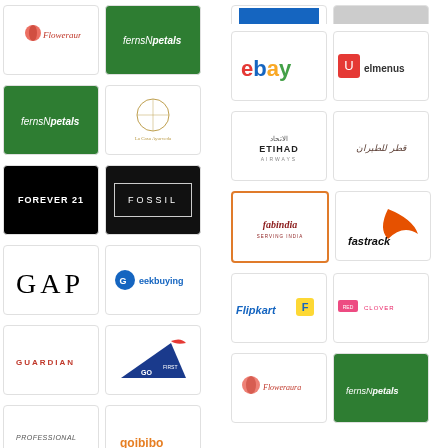[Figure (logo): FlowerAura logo]
[Figure (logo): FernsNPetals logo on green background]
[Figure (logo): FernsNPetals logo on green background (second instance)]
[Figure (logo): La something Ayurveda logo]
[Figure (logo): Forever 21 logo on black background]
[Figure (logo): Fossil logo on black background]
[Figure (logo): GAP logo]
[Figure (logo): GeekBuying logo]
[Figure (logo): Guardian logo]
[Figure (logo): Go First airline logo]
[Figure (logo): Professional logo]
[Figure (logo): Goibibo logo]
[Figure (logo): eBay logo]
[Figure (logo): elmenus logo]
[Figure (logo): Etihad Airways logo]
[Figure (logo): Qatar Airways logo in Arabic]
[Figure (logo): Fabindia logo]
[Figure (logo): Fastrack logo]
[Figure (logo): Flipkart logo]
[Figure (logo): Red Clover logo]
[Figure (logo): FlowerAura logo]
[Figure (logo): FernsNPetals logo on green background]